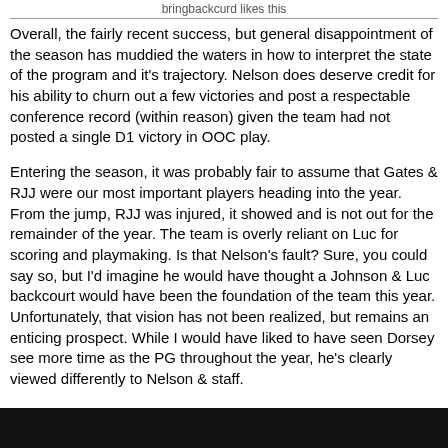bringbackcurd likes this
Overall, the fairly recent success, but general disappointment of the season has muddied the waters in how to interpret the state of the program and it's trajectory. Nelson does deserve credit for his ability to churn out a few victories and post a respectable conference record (within reason) given the team had not posted a single D1 victory in OOC play.
Entering the season, it was probably fair to assume that Gates & RJJ were our most important players heading into the year. From the jump, RJJ was injured, it showed and is not out for the remainder of the year. The team is overly reliant on Luc for scoring and playmaking. Is that Nelson's fault? Sure, you could say so, but I'd imagine he would have thought a Johnson & Luc backcourt would have been the foundation of the team this year. Unfortunately, that vision has not been realized, but remains an enticing prospect. While I would have liked to have seen Dorsey see more time as the PG throughout the year, he's clearly viewed differently to Nelson & staff.
If there was a miscalculation on the part of Nelson & staff, it probably comes down to Martindale. Just given his participation in the season preview podcast, which is often reserved for team leaders & better players, and role within the offense earlier in the season, I believe Nelson anticipated more growth from his wing player. I think going forward he is primarily a catch & shoot option on O to space the floor and has proven to be limited on D, which is probably the reason his minutes have been